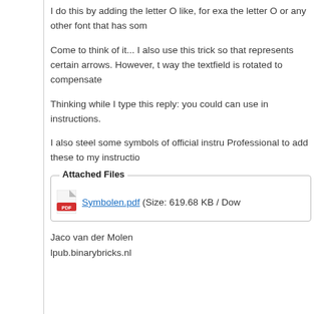I do this by adding the letter O like, for exa the letter O or any other font that has som
Come to think of it... I also use this trick so that represents certain arrows. However, t way the textfield is rotated to compensate
Thinking while I type this reply: you could can use in instructions.
I also steel some symbols of official instru Professional to add these to my instructio
Attached Files
Symbolen.pdf (Size: 619.68 KB / Dow
Jaco van der Molen
lpub.binarybricks.nl